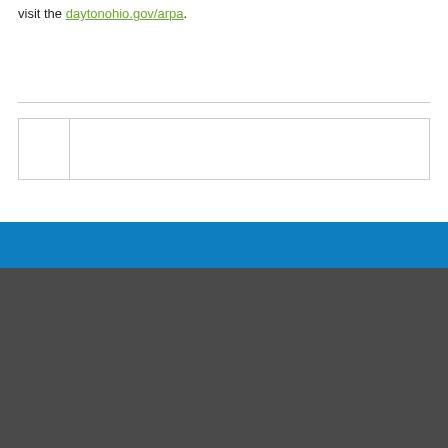visit the daytonohio.gov/arpa.
|  |  |
[Figure (other): Blue horizontal banner bar]
[Figure (logo): City of Dayton Ohio official seal, incorporated 1805, circular emblem with shield, stars, and decorative elements on dark gray footer background]